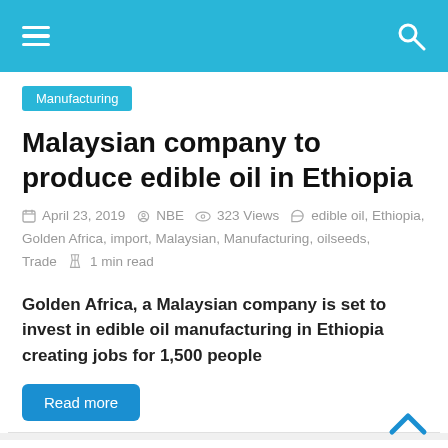≡  [site header with hamburger menu and search icon]
Manufacturing
Malaysian company to produce edible oil in Ethiopia
April 23, 2019   NBE   323 Views   edible oil, Ethiopia, Golden Africa, import, Malaysian, Manufacturing, oilseeds, Trade   1 min read
Golden Africa, a Malaysian company is set to invest in edible oil manufacturing in Ethiopia creating jobs for 1,500 people
Read more
[Figure (photo): Aerial/elevated photo of a busy outdoor market or street scene in Ethiopia]